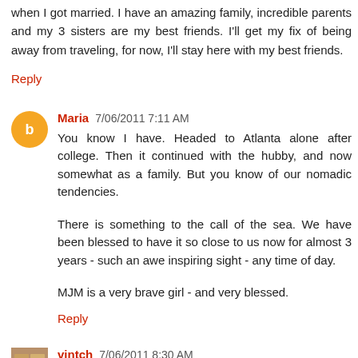when I got married. I have an amazing family, incredible parents and my 3 sisters are my best friends. I'll get my fix of being away from traveling, for now, I'll stay here with my best friends.
Reply
Maria 7/06/2011 7:11 AM
You know I have. Headed to Atlanta alone after college. Then it continued with the hubby, and now somewhat as a family. But you know of our nomadic tendencies.
There is something to the call of the sea. We have been blessed to have it so close to us now for almost 3 years - such an awe inspiring sight - any time of day.
MJM is a very brave girl - and very blessed.
Reply
vintch 7/06/2011 8:30 AM